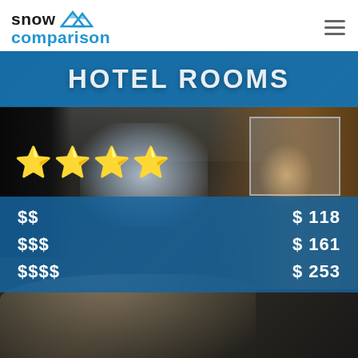[Figure (logo): Snow Comparison logo with mountain peaks icon in blue and dark text]
[Figure (infographic): Hotel room promotional banner with blue overlay showing 'HOTEL ROOMS' title, three gold stars rating, and pricing tiers: $$ = $118, $$$ = $161, $$$$ = $253, overlaid on a hotel room background photo]
| Price Tier | Price |
| --- | --- |
| $$ | $ 118 |
| $$$ | $ 161 |
| $$$$ | $ 253 |